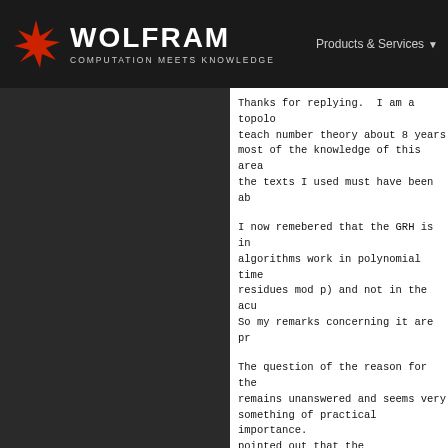WOLFRAM — COMPUTATION MEETS KNOWLEDGE | Products & Services
Thanks for replying. I am a topolo teach number theory about 8 years most of the knowledge of this area the texts I used must have been ab
I now remebered that the GRH is in algorithms work in polynomial time residues mod p) and not in the acu So my remarks concerning it are pr
The question of the reason for the remains unanswered and seems very something of practical importance. pointed out that the ProvablePrime NumberTheory`PrimeQ` package) fail for this reason: try ProvablePrim switching to the Pratt Certificate very large value (say 10^12)works curve method makes use of modular ought to manage without difficulty
Have you got any idea if this rest interersting "theoretical" cause, to work for large primes? If so it